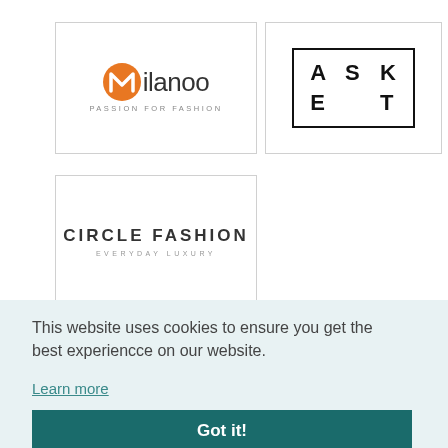[Figure (logo): Milanoo logo with orange M icon and text 'milanoo PASSION FOR FASHION']
[Figure (logo): ASKT logo with letters A, S, K, E, T arranged in a bordered grid]
[Figure (logo): Circle Fashion logo with text 'CIRCLE FASHION' and tagline 'EVERYDAY LUXURY']
This website uses cookies to ensure you get the best experiencce on our website.
Learn more
Got it!